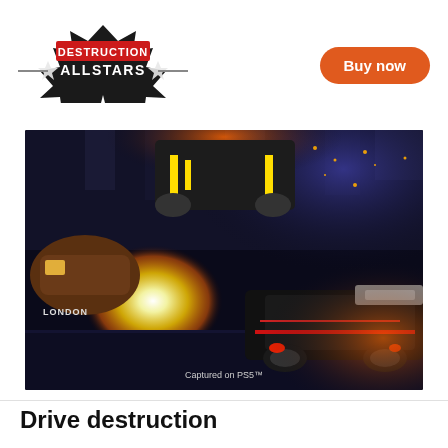[Figure (logo): Destruction AllStars game logo — black starburst shape with 'DESTRUCTION ALLSTARS' text in red/white letters]
[Figure (other): Buy now button — orange rounded rectangle with white bold text 'Buy now']
[Figure (screenshot): In-game screenshot of Destruction AllStars showing vehicles crashing with explosion sparks and fire in an arena, with 'LONDON' text visible on a car and 'Captured on PS5™' watermark at the bottom center]
Captured on PS5™
Drive destruction